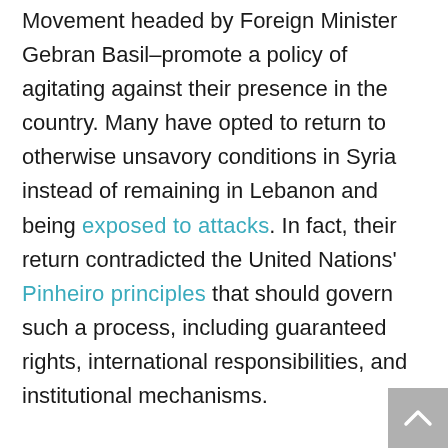Movement headed by Foreign Minister Gebran Basil–promote a policy of agitating against their presence in the country. Many have opted to return to otherwise unsavory conditions in Syria instead of remaining in Lebanon and being exposed to attacks. In fact, their return contradicted the United Nations' Pinheiro principles that should govern such a process, including guaranteed rights, international responsibilities, and institutional mechanisms.
The treatment of refugees in Lebanon indicates that they have no international protection from what amounts to national policies dictated by political conditions, such